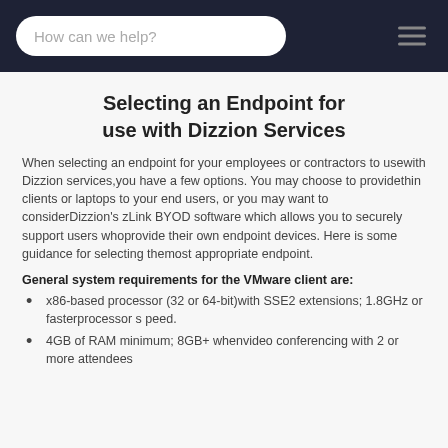How can we help?
Selecting an Endpoint for use with Dizzion Services
When selecting an endpoint for your employees or contractors to usewith Dizzion services,you have a few options. You may choose to providethin clients or laptops to your end users, or you may want to considerDizzion's zLink BYOD software which allows you to securely support users whoprovide their own endpoint devices. Here is some guidance for selecting themost appropriate endpoint.
General system requirements for the VMware client are:
x86-based processor (32 or 64-bit)with SSE2 extensions; 1.8GHz or fasterprocessor speed.
4GB of RAM minimum; 8GB+ whenvideo conferencing with 2 or more attendees